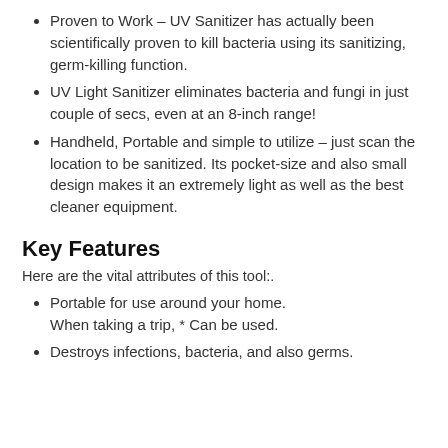Proven to Work – UV Sanitizer has actually been scientifically proven to kill bacteria using its sanitizing, germ-killing function.
UV Light Sanitizer eliminates bacteria and fungi in just couple of secs, even at an 8-inch range!
Handheld, Portable and simple to utilize – just scan the location to be sanitized. Its pocket-size and also small design makes it an extremely light as well as the best cleaner equipment.
Key Features
Here are the vital attributes of this tool:.
Portable for use around your home. When taking a trip, * Can be used.
Destroys infections, bacteria, and also germs.